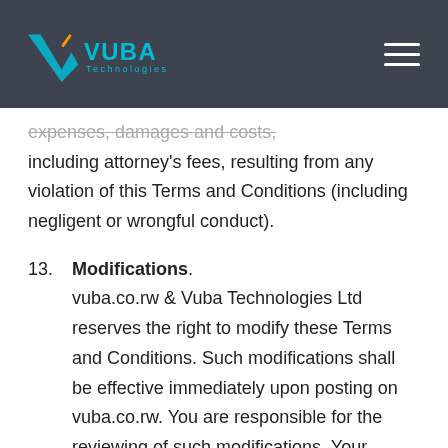VUBA Technologies
expenses, damages and costs, including attorney's fees, resulting from any violation of this Terms and Conditions (including negligent or wrongful conduct).
13. Modifications. vuba.co.rw & Vuba Technologies Ltd reserves the right to modify these Terms and Conditions. Such modifications shall be effective immediately upon posting on vuba.co.rw. You are responsible for the reviewing of such modifications. Your continued access or use of